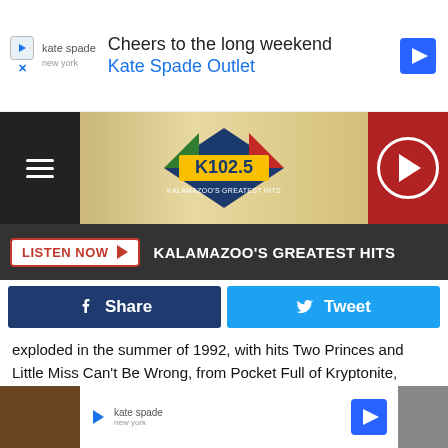[Figure (screenshot): Top advertisement banner: Kate Spade Outlet ad with text 'Cheers to the long weekend' and 'Kate Spade Outlet' with navigation arrow icon]
[Figure (screenshot): K102.5 Kalamazoo's Greatest Hits radio station navigation bar with hamburger menu, K102.5 logo, and red play button circle]
[Figure (screenshot): Listen Now button bar with dark background: 'LISTEN NOW' button in red/white and text 'KALAMAZOO'S GREATEST HITS']
[Figure (screenshot): Social sharing buttons: dark blue Facebook Share button and light blue Twitter Tweet button]
exploded in the summer of 1992, with hits Two Princes and Little Miss Can't Be Wrong, from Pocket Full of Kryptonite, being played everywhere, along with an appearance on Saturday Night Live. Several albums followed, but the band suffered a serious setback when lead singer Chris Barron lost his voice. It took two years for it to get back to being able to sing again.
[Figure (screenshot): Bottom advertisement banner with Kate Spade logo and navigation arrow, with brown and grey background strips on left and right]